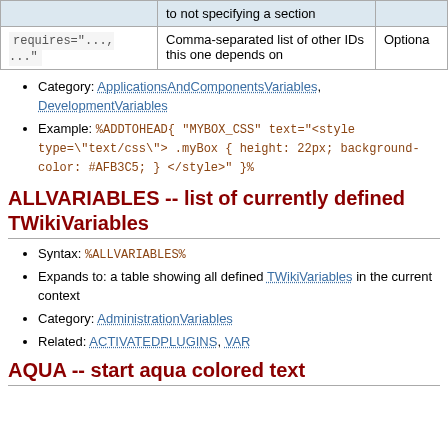|  | to not specifying a section |  |
| --- | --- | --- |
| requires="..., ..." | Comma-separated list of other IDs this one depends on | Optiona |
Category: ApplicationsAndComponentsVariables, DevelopmentVariables
Example: %ADDTOHEAD{ "MYBOX_CSS" text="<style type=\"text/css\"> .myBox { height: 22px; background-color: #AFB3C5; } </style>" }%
ALLVARIABLES -- list of currently defined TWikiVariables
Syntax: %ALLVARIABLES%
Expands to: a table showing all defined TWikiVariables in the current context
Category: AdministrationVariables
Related: ACTIVATEDPLUGINS, VAR
AQUA -- start aqua colored text